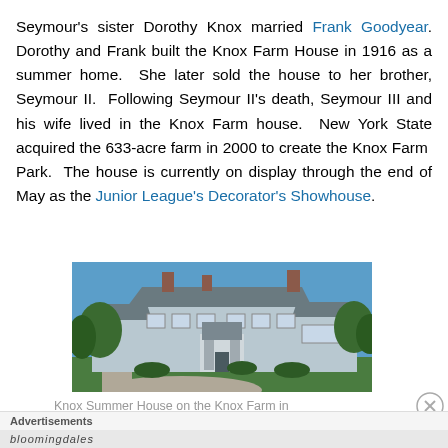Seymour's sister Dorothy Knox married Frank Goodyear. Dorothy and Frank built the Knox Farm House in 1916 as a summer home. She later sold the house to her brother, Seymour II. Following Seymour II's death, Seymour III and his wife lived in the Knox Farm house. New York State acquired the 633-acre farm in 2000 to create the Knox Farm Park. The house is currently on display through the end of May as the Junior League's Decorator's Showhouse.
[Figure (photo): Photograph of the Knox Summer House on the Knox Farm — a large two-story grey/blue shingled colonial-style house with multiple chimneys, surrounded by trees and landscaped grounds, with a curved driveway in the foreground.]
Knox Summer House on the Knox Farm in
Advertisements